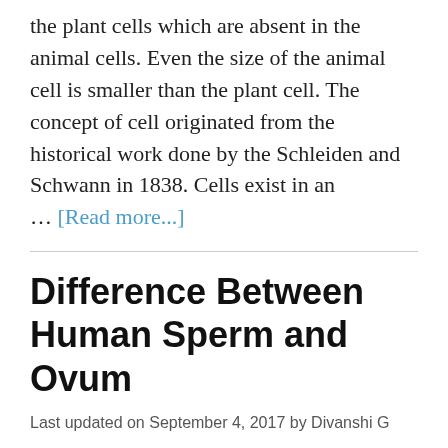the plant cells which are absent in the animal cells. Even the size of the animal cell is smaller than the plant cell. The concept of cell originated from the historical work done by the Schleiden and Schwann in 1838. Cells exist in an … [Read more...]
Difference Between Human Sperm and Ovum
Last updated on September 4, 2017 by Divanshi G
Sperm is the male gamete, produced in the testis of a male, while Ovum is the female gamete, produced in the ovary of a female